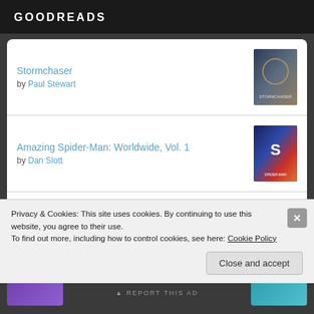GOODREADS
Stormchaser by Paul Stewart
Amazing Spider-Man: Worldwide, Vol. 1 by Dan Slott
Batman: Rebirth #1 by Tom King
The London Eye Mystery
Privacy & Cookies: This site uses cookies. By continuing to use this website, you agree to their use.
To find out more, including how to control cookies, see here: Cookie Policy
Close and accept